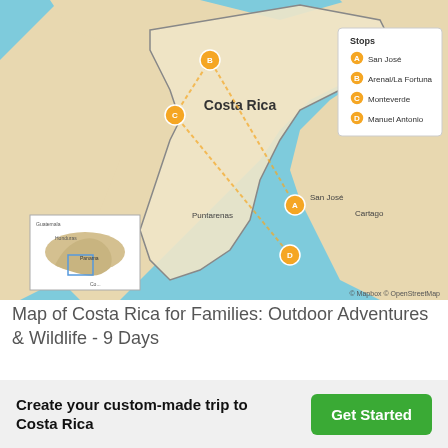[Figure (map): Map of Costa Rica showing a travel itinerary route with 4 labeled stops: A=San José, B=Arenal/La Fortuna, C=Monteverde, D=Manuel Antonio. Map style is Mapbox/OpenStreetMap with terrain shading, blue ocean, and beige land. A legend in the top-right lists the stops. A small inset map of Central America appears in the bottom-left corner. Attribution reads '© Mapbox © OpenStreetMap'.]
Map of Costa Rica for Families: Outdoor Adventures & Wildlife - 9 Days
Written by Yoaui Fu, updated Jun 2, 2022
Create your custom-made trip to Costa Rica
Get Started